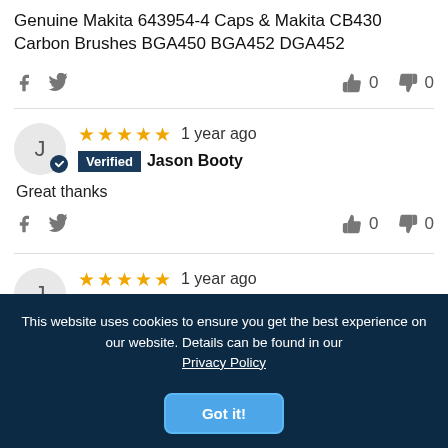Genuine Makita 643954-4 Caps & Makita CB430 Carbon Brushes BGA450 BGA452 DGA452
f  🐦  👍 0  👎 0
⭐⭐⭐⭐⭐ 1 year ago  Verified  Jason Booty
Great thanks
f  🐦  👍 0  👎 0
⭐⭐⭐⭐⭐ 1 year ago
This website uses cookies to ensure you get the best experience on our website. Details can be found in our Privacy Policy
Got it!